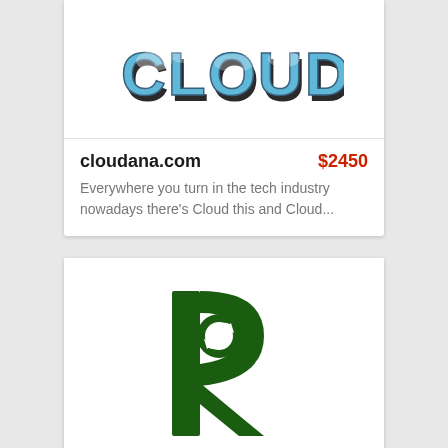[Figure (logo): Cloudana logo with blue and dark block letters spelling CLOUDANA with cloud imagery]
cloudana.com   $2450
Everywhere you turn in the tech industry nowadays there's Cloud this and Cloud...
[Figure (logo): Dark green letter R logo with recycling/refresh arrow icon embedded in the counter of the R]
recredited.com   $1950
Recredited is a single word dot com domain...